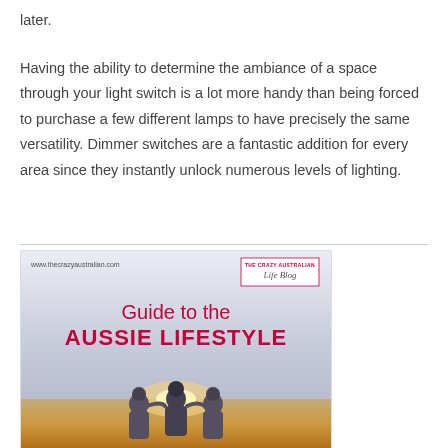later.
Having the ability to determine the ambiance of a space through your light switch is a lot more handy than being forced to purchase a few different lamps to have precisely the same versatility. Dimmer switches are a fantastic addition for every area since they instantly unlock numerous levels of lighting.
[Figure (illustration): Book or blog graphic titled 'Guide to the AUSSIE LIFESTYLE' from thecrazyaustralian.com, showing three people silhouetted against a sunset background, with THE CRAZY AUSTRALIAN Life Blog badge in top right]